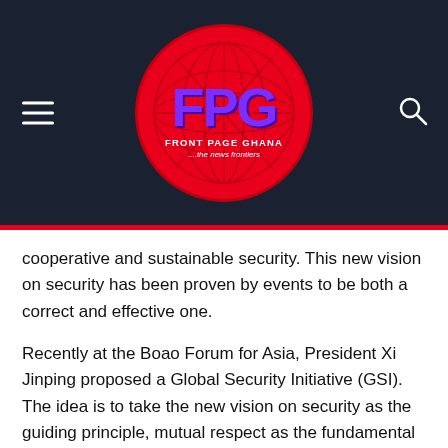[Figure (logo): Front Page Ghana logo — red circle with FPG letters in purple, globe graphic, text 'FRONT PAGE GHANA ...the news frontiers']
cooperative and sustainable security. This new vision on security has been proven by events to be both a correct and effective one.
Recently at the Boao Forum for Asia, President Xi Jinping proposed a Global Security Initiative (GSI). The idea is to take the new vision on security as the guiding principle, mutual respect as the fundamental requirement, indivisible security as the important principle, and building a security community as the long-term goal, in order to foster a new type of security that replaces confrontation, alliance and a zero-sum approach with dialogue, partnership and win-win results. This major Initiative carries forward the spirit of the